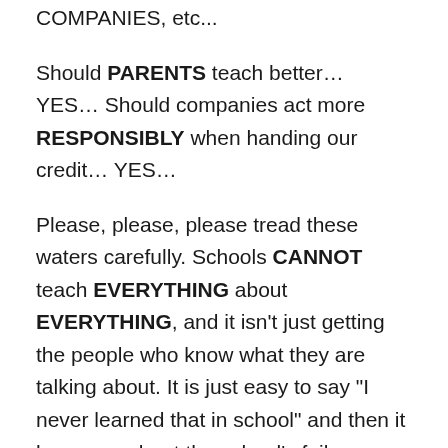COMPANIES, etc...
Should PARENTS teach better... YES... Should companies act more RESPONSIBLY when handing our credit... YES...
Please, please, please tread these waters carefully. Schools CANNOT teach EVERYTHING about EVERYTHING, and it isn't just getting the people who know what they are talking about. It is just easy to say "I never learned that in school" and then it becomes about the school's failure.
The problem is still the I NEED attitude, the idea that cable and cell phones are a NEED not a want. Until those attitudes are changed, things will not